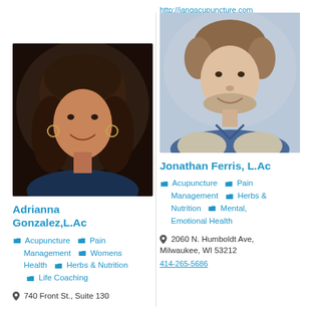http://jangacupuncture.com
[Figure (photo): Portrait photo of Adrianna Gonzalez, L.Ac — woman with long curly brown hair, smiling]
Adrianna Gonzalez,L.Ac
Acupuncture  Pain Management  Womens Health  Herbs & Nutrition  Life Coaching
740 Front St., Suite 130
[Figure (photo): Portrait photo of Jonathan Ferris, L.Ac — man with short brown hair, beard, smiling, wearing blue and grey sweater]
Jonathan Ferris, L.Ac
Acupuncture  Pain Management  Herbs & Nutrition  Mental, Emotional Health
2060 N. Humboldt Ave, Milwaukee, WI 53212